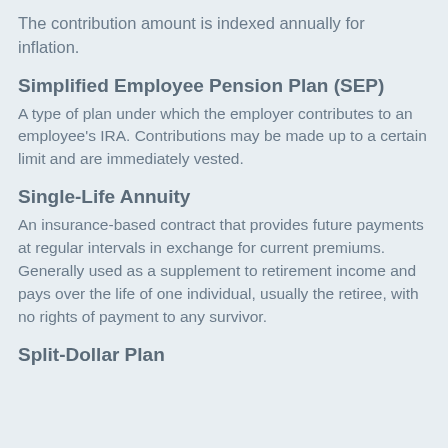The contribution amount is indexed annually for inflation.
Simplified Employee Pension Plan (SEP)
A type of plan under which the employer contributes to an employee's IRA. Contributions may be made up to a certain limit and are immediately vested.
Single-Life Annuity
An insurance-based contract that provides future payments at regular intervals in exchange for current premiums. Generally used as a supplement to retirement income and pays over the life of one individual, usually the retiree, with no rights of payment to any survivor.
Split-Dollar Plan